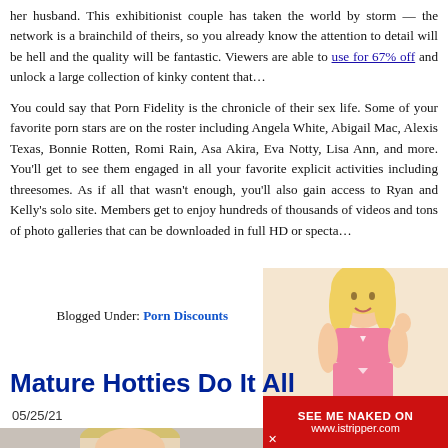her husband. This exhibitionist couple has taken the world by storm — the network is a brainchild of theirs, so you already know the attention to detail will be hell and the quality will be fantastic. Viewers are able to use [link: for 67% off] and unlock a large collection of kinky content that…
You could say that Porn Fidelity is the chronicle of their sex life. Some of your favorite porn stars are on the roster including Angela White, Abigail Mac, Alexis Texas, Bonnie Rotten, Romi Rain, Asa Akira, Eva Notty, Lisa Ann, and more. You'll get to see them engaged in all your favorite explicit activities including threesomes. As if all that wasn't enough, you'll also gain access to Ryan and Kelly's solo site. Members get to enjoy hundreds of thousands of videos and tons of photo galleries that can be downloaded in full HD or specta…
Blogged Under: Porn Discounts
Mature Hotties Do It All
05/25/21
[Figure (photo): Blonde woman in pink lingerie posing — advertisement image overlay on right side]
[Figure (photo): Partial photo of a blonde woman at the bottom of the page]
SEE ME NAKED ON www.istripper.com